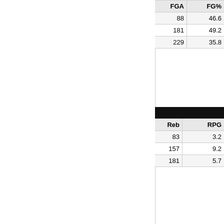| Season | Team | G | Min | FG | FGA | FG% |
| --- | --- | --- | --- | --- | --- | --- |
| 21-22 | TEX | 26 | 283 | 41 | 88 | 46.6 |
| 20-21 | VAN | 17 | 537 | 89 | 181 | 49.2 |
| 19-20 | VAN | 32 | 865 | 82 | 229 | 35.8 |
More Statistics
| Season | Team | G | Min | Reb | RPG |
| --- | --- | --- | --- | --- | --- |
| 21-22 | TEX | 26 | 283 | 83 | 3.2 |
| 20-21 | VAN | 17 | 537 | 157 | 9.2 |
| 19-20 | VAN | 32 | 865 | 181 | 5.7 |